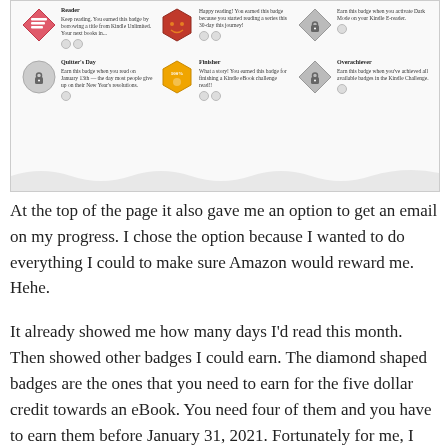[Figure (screenshot): Screenshot of a Kindle reading challenge badges page showing various badge icons including Reader, Happy Reader, Dark Mode Reader, Quitter's Day, Finisher, and Overachiever badges with lock icons on unearned badges.]
At the top of the page it also gave me an option to get an email on my progress. I chose the option because I wanted to do everything I could to make sure Amazon would reward me. Hehe.
It already showed me how many days I’d read this month. Then showed other badges I could earn. The diamond shaped badges are the ones that you need to earn for the five dollar credit towards an eBook. You need four of them and you have to earn them before January 31, 2021. Fortunately for me, I was